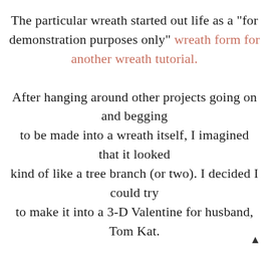The particular wreath started out life as a "for demonstration purposes only" wreath form for another wreath tutorial. After hanging around other projects going on and begging to be made into a wreath itself, I imagined that it looked kind of like a tree branch (or two). I decided I could try to make it into a 3-D Valentine for husband, Tom Kat.
If you want to make one for yourself (or someone else),